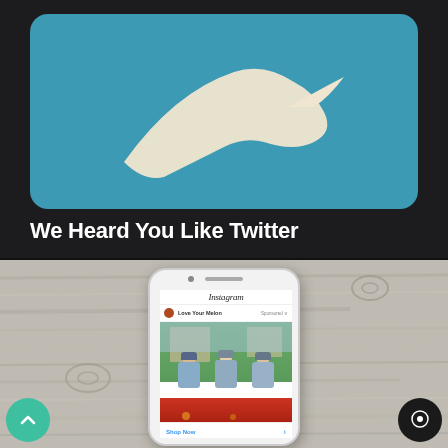[Figure (screenshot): Twitter app icon with blue background and white bird logo on dark background, with text 'We Heard You Like Twitter']
We Heard You Like Twitter
[Figure (photo): White iPhone mockup on wood grain surface displaying an Instagram sponsored post from 'Love Your Melon' with three women wearing beanies outdoors]